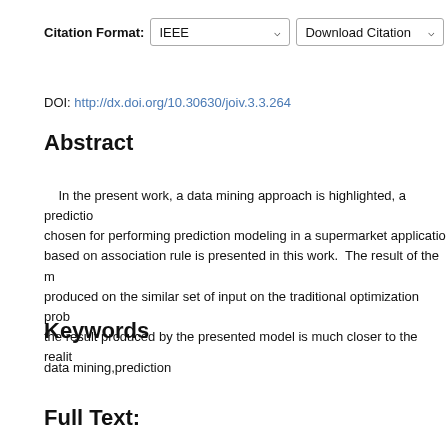Citation Format: IEEE  Download Citation
DOI: http://dx.doi.org/10.30630/joiv.3.3.264
Abstract
In the present work, a data mining approach is highlighted, a prediction chosen for performing prediction modeling in a supermarket application based on association rule is presented in this work. The result of the m produced on the similar set of input on the traditional optimization prob the result produced by the presented model is much closer to the realit
Keywords
data mining,prediction
Full Text: